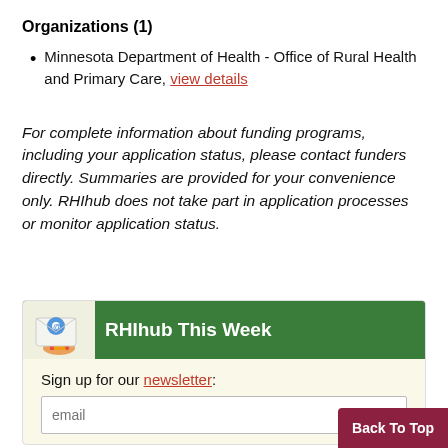Organizations (1)
Minnesota Department of Health - Office of Rural Health and Primary Care, view details
For complete information about funding programs, including your application status, please contact funders directly. Summaries are provided for your convenience only. RHIhub does not take part in application processes or monitor application status.
[Figure (infographic): RHIhub This Week newsletter signup box with envelope icon, green header, and email input field]
Back To Top